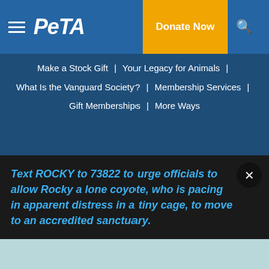PETA — Donate Now
Make a Stock Gift | Your Legacy for Animals | What Is the Vanguard Society? | Membership Services | Gift Memberships | More Ways
International Sites:
PETA U.K. | PETA France | PETA Germany | PETA Netherlands | PETA Switzerland | PETA India | PETA Australia | PETA Asia | পেটা | PETA Latino
Text ROCKY to 73822 to urge officials to allow Rocky a lone coyote, who is pacing in apparent distress in a tiny cage, to move to an accredited sanctuary.